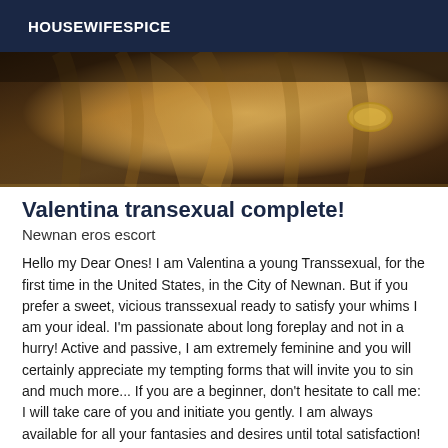HOUSEWIFESPICE
[Figure (photo): Close-up photo showing draped fabric or clothing in warm golden-brown tones with what appears to be a gold bracelet or jewelry detail visible]
Valentina transexual complete!
Newnan eros escort
Hello my Dear Ones! I am Valentina a young Transsexual, for the first time in the United States, in the City of Newnan. But if you prefer a sweet, vicious transsexual ready to satisfy your whims I am your ideal. I'm passionate about long foreplay and not in a hurry! Active and passive, I am extremely feminine and you will certainly appreciate my tempting forms that will invite you to sin and much more... If you are a beginner, don't hesitate to call me: I will take care of you and initiate you gently. I am always available for all your fantasies and desires until total satisfaction! I like to see and feel a